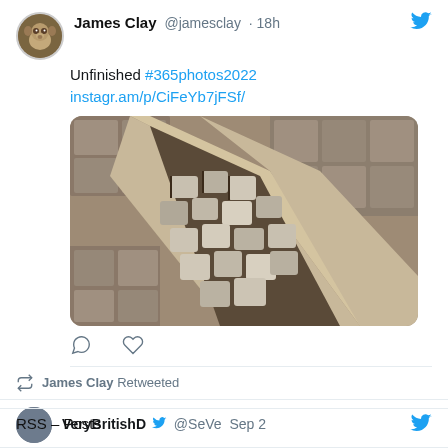James Clay @jamesclay · 18h
Unfinished #365photos2022 instagr.am/p/CiFeYb7jFSf/
[Figure (photo): Overhead photo of unfinished cobblestone/brick paving work, showing loose stone blocks in a trough-like channel between laid paving stones]
James Clay Retweeted
VeryBritishD  @SeVe  Sep 2
RSS – Posts